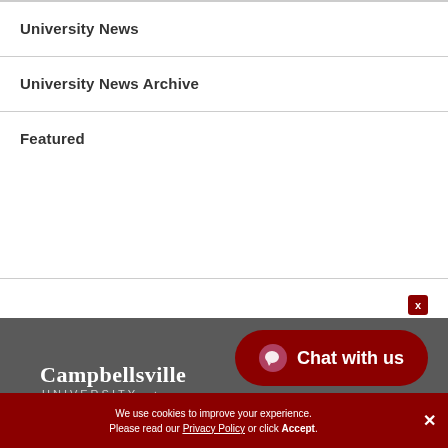University News
University News Archive
Featured
[Figure (logo): Campbellsville University logo in white on dark gray background]
[Figure (other): Chat with us button in dark red with chat icon]
We use cookies to improve your experience. Please read our Privacy Policy or click Accept.